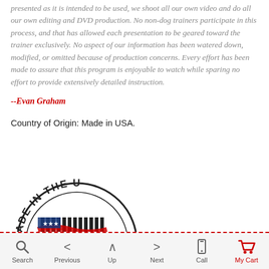presented as it is intended to be used, we shoot all our own video and do all our own editing and DVD production. No non-dog trainers participate in this process, and that has allowed each presentation to be geared toward the trainer exclusively. No aspect of our information has been watered down, modified, or omitted because of production concerns. Every effort has been made to assure that this program is enjoyable to watch while sparing no effort to provide extensively detailed instruction.
--Evan Graham
Country of Origin: Made in USA.
[Figure (illustration): Made in the USA circular stamp/seal logo, showing partial arc with American flag colors and text]
Search  Previous  Up  Next  Call  My Cart